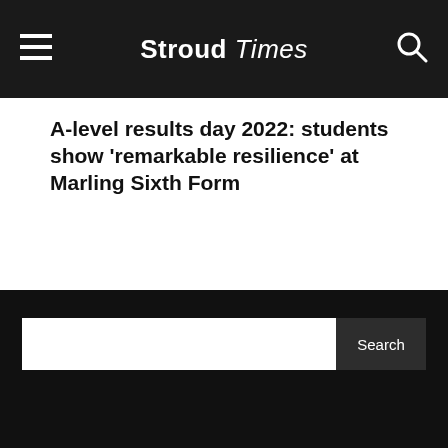Stroud Times
A-level results day 2022: students show 'remarkable resilience' at Marling Sixth Form